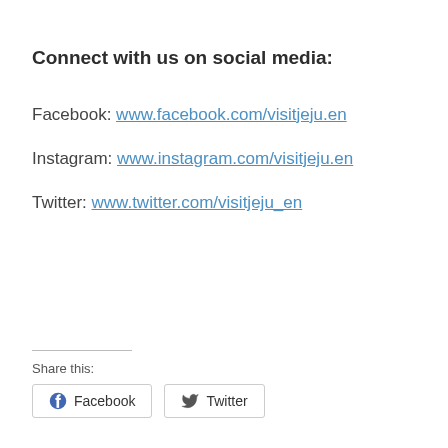Connect with us on social media:
Facebook: www.facebook.com/visitjeju.en
Instagram: www.instagram.com/visitjeju.en
Twitter: www.twitter.com/visitjeju_en
Share this:
Facebook  Twitter